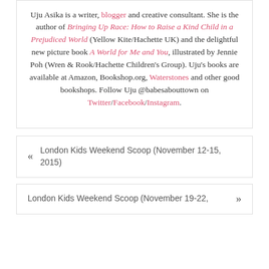Uju Asika is a writer, blogger and creative consultant. She is the author of Bringing Up Race: How to Raise a Kind Child in a Prejudiced World (Yellow Kite/Hachette UK) and the delightful new picture book A World for Me and You, illustrated by Jennie Poh (Wren & Rook/Hachette Children's Group). Uju's books are available at Amazon, Bookshop.org, Waterstones and other good bookshops. Follow Uju @babesabouttown on Twitter/Facebook/Instagram.
« London Kids Weekend Scoop (November 12-15, 2015)
London Kids Weekend Scoop (November 19-22, »